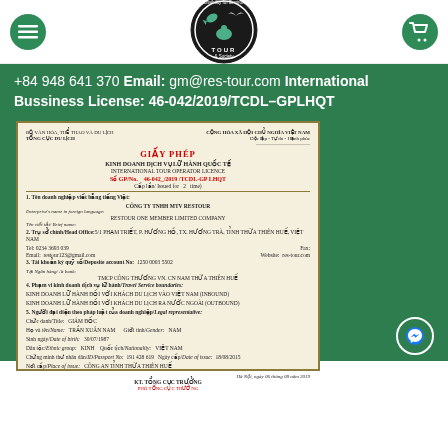[Figure (logo): Website header with hamburger menu icon, circular eco-tour logo in center, and shopping cart icon on right]
+84 948 641 370 Email: gm@res-tour.com International Bussiness License: 46-042/2019/TCDL-GPLHQT
[Figure (photo): Scanned Vietnamese International Tour Operator Licence document (GIẤY PHÉP) number 46-042/2019/TCDL-GP LHQT issued to CÔNG TY TNHH MTV RESTOUR / RESTOUR ONE MEMBER LIMITED COMPANY, located at 5/1 Pham Triet, P. Huong Ho, TX. Huong Tra, Tinh Thua Thien Hue, Viet Nam. Legal representative: Tran Xuan Nam, Director, male, born 30/07/1987.]